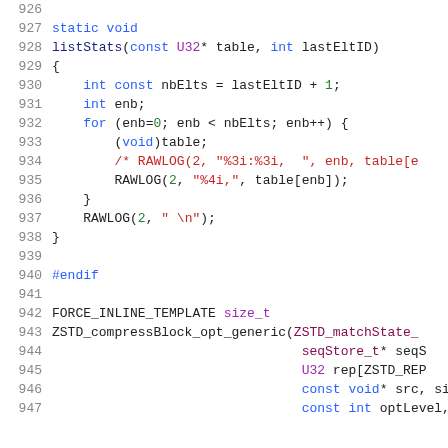926 (blank line)
927     static void
928     listStats(const U32* table, int lastEltID)
929     {
930         int const nbElts = lastEltID + 1;
931         int enb;
932         for (enb=0; enb < nbElts; enb++) {
933             (void)table;
934             /* RAWLOG(2, "%3i:%3i,  ", enb, table[e
935             RAWLOG(2, "%4i,", table[enb]);
936         }
937         RAWLOG(2, " \n");
938     }
939 (blank)
940     #endif
941 (blank)
942     FORCE_INLINE_TEMPLATE size_t
943     ZSTD_compressBlock_opt_generic(ZSTD_matchState_
944                                     seqStore_t* seqS
945                                     U32 rep[ZSTD_REP
946                                     const void* src, size_
947                                     const int optLevel,